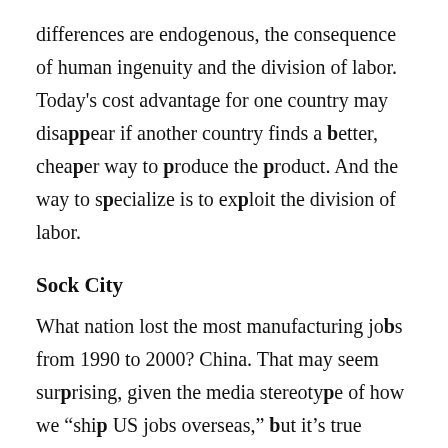differences are endogenous, the consequence of human ingenuity and the division of labor. Today's cost advantage for one country may disappear if another country finds a better, cheaper way to produce the product. And the way to specialize is to exploit the division of labor.
Sock City
What nation lost the most manufacturing jobs from 1990 to 2000? China. That may seem surprising, given the media stereotype of how we "ship US jobs overseas," but it's true (PDF). In 1990, Chinese manufacturing meant large sheds filled with hundreds of people working with sewing